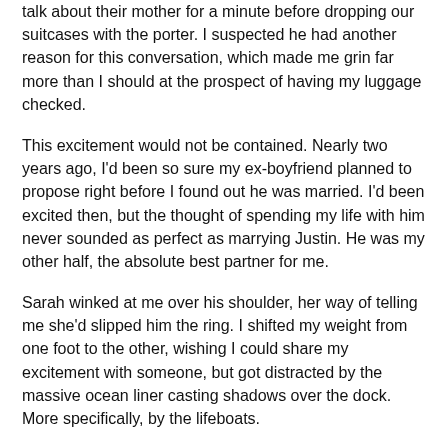talk about their mother for a minute before dropping our suitcases with the porter. I suspected he had another reason for this conversation, which made me grin far more than I should at the prospect of having my luggage checked.
This excitement would not be contained. Nearly two years ago, I'd been so sure my ex-boyfriend planned to propose right before I found out he was married. I'd been excited then, but the thought of spending my life with him never sounded as perfect as marrying Justin. He was my other half, the absolute best partner for me.
Sarah winked at me over his shoulder, her way of telling me she'd slipped him the ring. I shifted my weight from one foot to the other, wishing I could share my excitement with someone, but got distracted by the massive ocean liner casting shadows over the dock. More specifically, by the lifeboats.
Eyeing the orange rubber vessels lining the sides, I turned to Ed. “Do you think they brought enough lifeboats?”